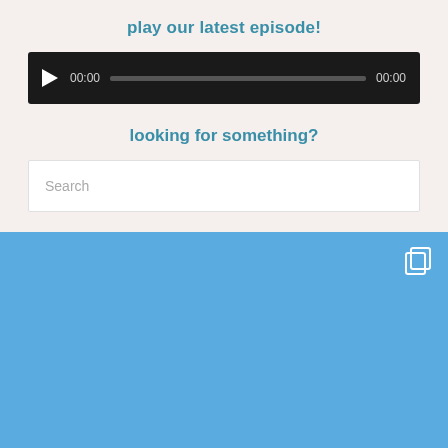play our latest episode!
[Figure (other): Audio player widget with dark background, play button, timestamp 00:00, progress bar, and end time 00:00]
looking for something?
[Figure (other): Search input box with placeholder text 'Search']
[Figure (other): Blue banner section showing bottom of page with a white card containing 'HOMETOWN TRAVEL GUIDES' text and a circular badge, plus copy/duplicate icon in top right]